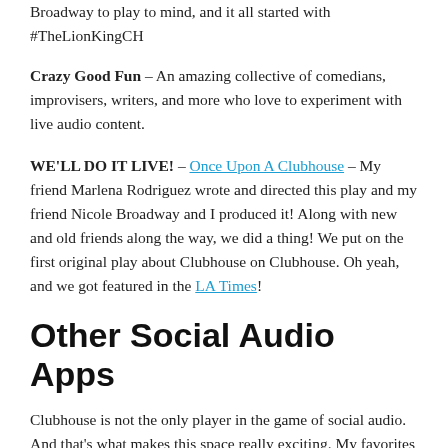Broadway to play to mind, and it all started with #TheLionKingCH
Crazy Good Fun – An amazing collective of comedians, improvisers, writers, and more who love to experiment with live audio content.
WE'LL DO IT LIVE! – Once Upon A Clubhouse – My friend Marlena Rodriguez wrote and directed this play and my friend Nicole Broadway and I produced it! Along with new and old friends along the way, we did a thing! We put on the first original play about Clubhouse on Clubhouse. Oh yeah, and we got featured in the LA Times!
Other Social Audio Apps
Clubhouse is not the only player in the game of social audio. And that's what makes this space really exciting. My favorites include Twitter Spaces, Sonar,